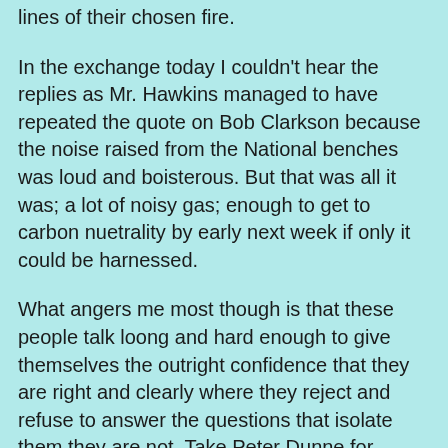lines of their chosen fire.
In the exchange today I couldn't hear the replies as Mr. Hawkins managed to have repeated the quote on Bob Clarkson because the noise raised from the National benches was loud and boisterous. But that was all it was; a lot of noisy gas; enough to get to carbon nuetrality by early next week if only it could be harnessed.
What angers me most though is that these people talk loong and hard enough to give themselves the outright confidence that they are right and clearly where they reject and refuse to answer the questions that isolate them they are not. Take Peter Dunne for example. He was outside the House addressing a protest by the Fulon Gong group. His speech was well worded and he put his position clearly with that of teh Greens as the reject the practices of torture, corruption and